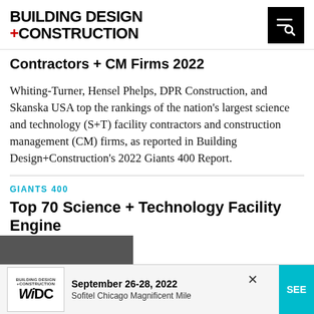[Figure (logo): Building Design + Construction magazine logo with red plus sign]
Contractors + CM Firms 2022
Whiting-Turner, Hensel Phelps, DPR Construction, and Skanska USA top the rankings of the nation's largest science and technology (S+T) facility contractors and construction management (CM) firms, as reported in Building Design+Construction's 2022 Giants 400 Report.
GIANTS 400
Top 70 Science + Technology Facility Engine...
[Figure (infographic): Advertisement banner for WiDC event September 26-28, 2022 at Sofitel Chicago Magnificent Mile with close button and SEE button]